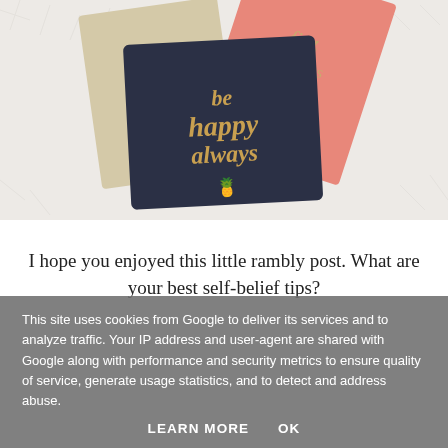[Figure (photo): Photo of decorative journals/notebooks on a fluffy white rug. A dark navy notebook in the center has gold script text reading 'be happy always' with a gold pineapple icon. Behind it are a tan/cream notebook and a pink/coral notebook with gold text.]
I hope you enjoyed this little rambly post. What are your best self-belief tips?
This site uses cookies from Google to deliver its services and to analyze traffic. Your IP address and user-agent are shared with Google along with performance and security metrics to ensure quality of service, generate usage statistics, and to detect and address abuse.
LEARN MORE    OK